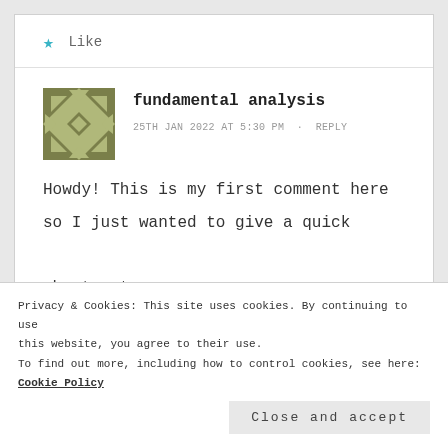[Figure (other): Three dots menu icon in top right corner]
★ Like
[Figure (other): Geometric quilt-pattern avatar in olive/grey tones]
fundamental analysis
25TH JAN 2022 AT 5:30 PM · REPLY
Howdy! This is my first comment here so I just wanted to give a quick shout out
Privacy & Cookies: This site uses cookies. By continuing to use this website, you agree to their use.
To find out more, including how to control cookies, see here:
Cookie Policy
Close and accept